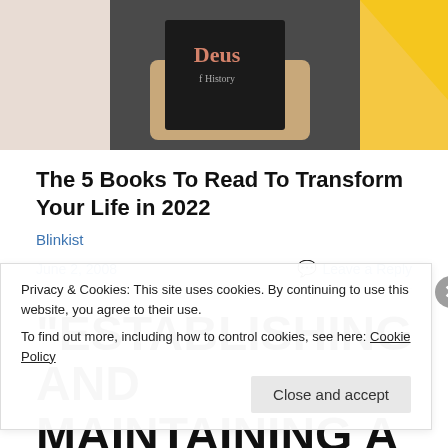[Figure (photo): Person holding a book titled 'Deus [of History]' against a background with yellow geometric shapes]
The 5 Books To Read To Transform Your Life in 2022
Blinkist
June 2, 2008    Leave a Reply
“ESTABLISHING AND MAINTAINING A POSITIVE
Privacy & Cookies: This site uses cookies. By continuing to use this website, you agree to their use.
To find out more, including how to control cookies, see here: Cookie Policy
Close and accept